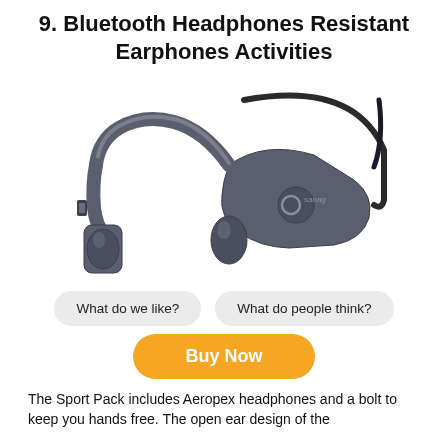9. Bluetooth Headphones Resistant Earphones Activities
[Figure (photo): Sanag brand bone conduction bluetooth headphones in gray/dark color, showing the open-ear design with wraparound band and ear transducers]
What do we like?
What do people think?
Buy Now
The Sport Pack includes Aeropex headphones and a bolt to keep you hands free. The open ear design of the